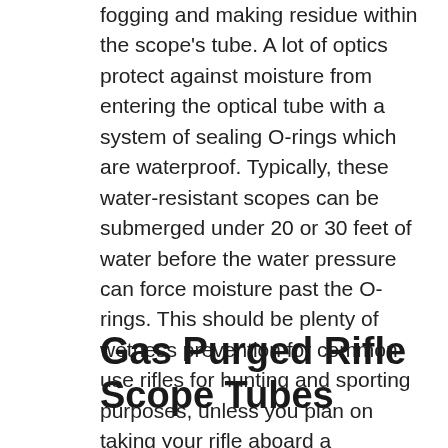fogging and making residue within the scope's tube. A lot of optics protect against moisture from entering the optical tube with a system of sealing O-rings which are waterproof. Typically, these water-resistant scopes can be submerged under 20 or 30 feet of water before the water pressure can force moisture past the O-rings. This should be plenty of wetness prevention for common use rifles for hunting and sporting purposes, unless you plan on taking your rifle aboard a watercraft and are concerned about the optic still working if it goes over the side and you can still rescue the firearm.
Gas Purged Rifle Scope Tubes